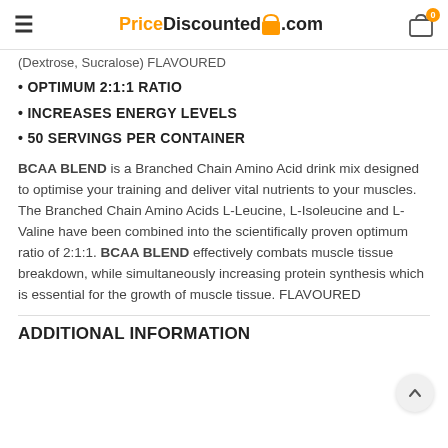PriceDiscounted.com
(Dextrose, Sucralose) FLAVOURED
OPTIMUM 2:1:1 RATIO
INCREASES ENERGY LEVELS
50 SERVINGS PER CONTAINER
BCAA BLEND is a Branched Chain Amino Acid drink mix designed to optimise your training and deliver vital nutrients to your muscles. The Branched Chain Amino Acids L-Leucine, L-Isoleucine and L-Valine have been combined into the scientifically proven optimum ratio of 2:1:1. BCAA BLEND effectively combats muscle tissue breakdown, while simultaneously increasing protein synthesis which is essential for the growth of muscle tissue. FLAVOURED
ADDITIONAL INFORMATION